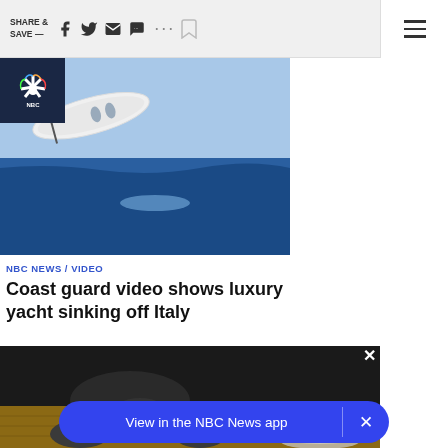SHARE & SAVE — [icons: facebook, twitter, email, chat, more, bookmark, menu]
[Figure (photo): Coast guard video still showing a white luxury yacht nearly vertical, sinking bow-first into dark blue ocean water. NBC News logo in top-left corner.]
NBC NEWS / VIDEO
Coast guard video shows luxury yacht sinking off Italy
[Figure (photo): Close-up photo of a black dog's snout and paws resting on a wooden floor with a plate nearby. Overlaid with a blue TAP TO UNMUTE button and an X close button.]
View in the NBC News app
×